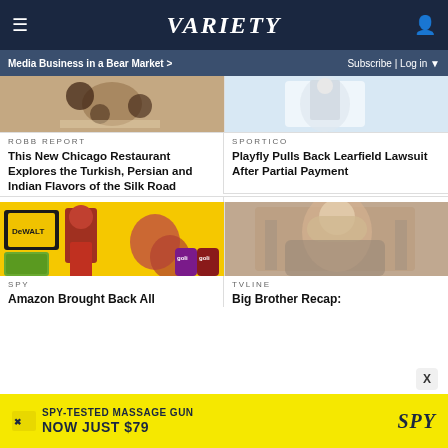VARIETY
Media Business in a Bear Market >
Subscribe | Log in
[Figure (photo): Food image - Turkish/Persian/Indian cuisine]
ROBB REPORT
This New Chicago Restaurant Explores the Turkish, Persian and Indian Flavors of the Silk Road
[Figure (photo): Sports image - baseball player]
SPORTICO
Playfly Pulls Back Learfield Lawsuit After Partial Payment
[Figure (photo): SPY product collage - DeWalt tools, dumbbells, goli products on yellow background]
SPY
Amazon Brought Back All
[Figure (photo): TVLine - person in bucket hat stretching outdoors]
TVLINE
Big Brother Recap:
[Figure (infographic): Advertisement banner: SPY-TESTED MASSAGE GUN NOW JUST $79]